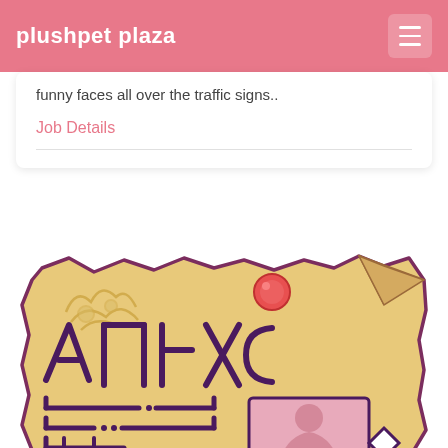plushpet plaza
funny faces all over the traffic signs..
Job Details
[Figure (illustration): A cartoon-style illustrated ID card or wanted poster on aged parchment paper with decorative fantasy/runic text symbols, lines representing text fields, a portrait photo placeholder with a person silhouette, a red wax seal dot, and torn/ragged edges. The illustration uses purple outlines on a tan/cream background with pink accents.]